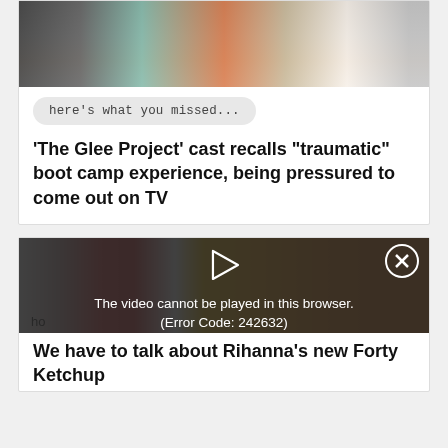[Figure (photo): Group photo of The Glee Project cast members at top of card]
here's what you missed...
'The Glee Project' cast recalls "traumatic" boot camp experience, being pressured to come out on TV
[Figure (photo): Photo showing a red-haired person and Heinz Ketchup product on yellow background, partially obscured by video error overlay]
The video cannot be played in this browser. (Error Code: 242632)
We have to talk about Rihanna's new Forty Ketchup